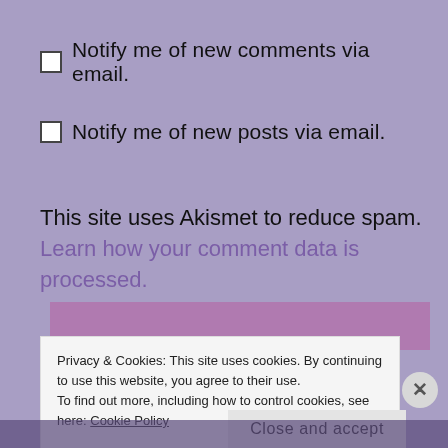Notify me of new comments via email.
Notify me of new posts via email.
This site uses Akismet to reduce spam. Learn how your comment data is processed.
Privacy & Cookies: This site uses cookies. By continuing to use this website, you agree to their use.
To find out more, including how to control cookies, see here: Cookie Policy
Close and accept